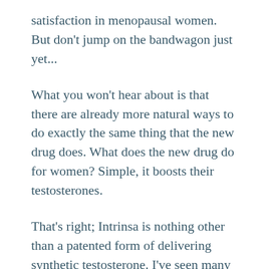satisfaction in menopausal women. But don't jump on the bandwagon just yet...
What you won't hear about is that there are already more natural ways to do exactly the same thing that the new drug does. What does the new drug do for women? Simple, it boosts their testosterones.
That's right; Intrinsa is nothing other than a patented form of delivering synthetic testosterone. I've seen many women – as many women as men – keep their sex drive up by boosting their testosterone levels naturally. This